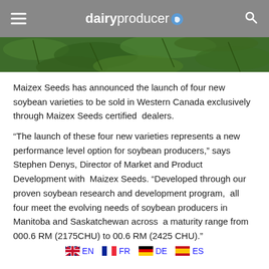dairyproducer
[Figure (photo): Close-up photo of green soybean plant leaves]
Maizex Seeds has announced the launch of four new soybean varieties to be sold in Western Canada exclusively through Maizex Seeds certified  dealers.
“The launch of these four new varieties represents a new performance level option for soybean producers,” says Stephen Denys, Director of Market and Product Development with  Maizex Seeds. “Developed through our proven soybean research and development program,  all four meet the evolving needs of soybean producers in Manitoba and Saskatchewan across  a maturity range from 000.6 RM (2175CHU) to 00.6 RM (2425 CHU).”
EN  FR  DE  ES